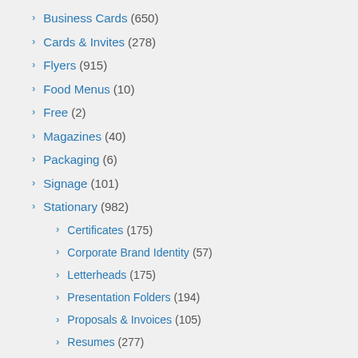Business Cards (650)
Cards & Invites (278)
Flyers (915)
Food Menus (10)
Free (2)
Magazines (40)
Packaging (6)
Signage (101)
Stationary (982)
Certificates (175)
Corporate Brand Identity (57)
Letterheads (175)
Presentation Folders (194)
Proposals & Invoices (105)
Resumes (277)